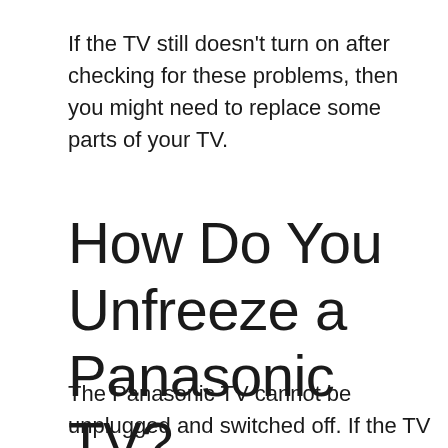If the TV still doesn't turn on after checking for these problems, then you might need to replace some parts of your TV.
How Do You Unfreeze a Panasonic TV?
The Panasonic TV cannot be unplugged and switched off. If the TV is not working, it might have frozen or broken.